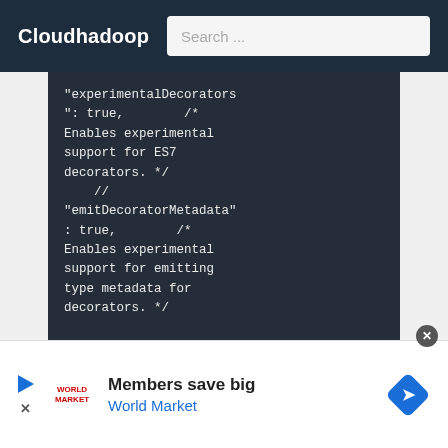Cloudhadoop  Search ...
"experimentalDecorators": true,        /* Enables experimental support for ES7 decorators. */
        //
"emitDecoratorMetadata": true,        /* Enables experimental support for emitting type metadata for decorators. */
Members save big
World Market